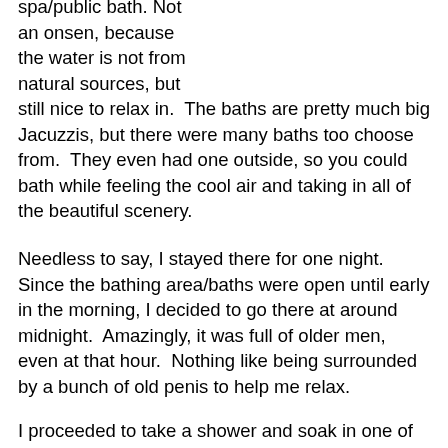spa/public bath. Not an onsen, because the water is not from natural sources, but still nice to relax in.  The baths are pretty much big Jacuzzis, but there were many baths too choose from.  They even had one outside, so you could bath while feeling the cool air and taking in all of the beautiful scenery.
Needless to say, I stayed there for one night.  Since the bathing area/baths were open until early in the morning, I decided to go there at around midnight.  Amazingly, it was full of older men, even at that hour.  Nothing like being surrounded by a bunch of old penis to help me relax.
I proceeded to take a shower and soak in one of the